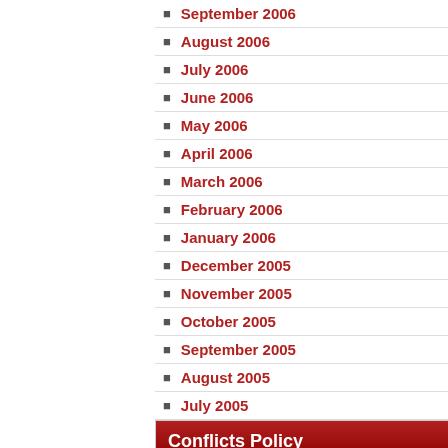September 2006
August 2006
July 2006
June 2006
May 2006
April 2006
March 2006
February 2006
January 2006
December 2005
November 2005
October 2005
September 2005
August 2005
July 2005
Conflicts Policy
Everything on this blog is my personal opinion and does not necessarily represent the views of